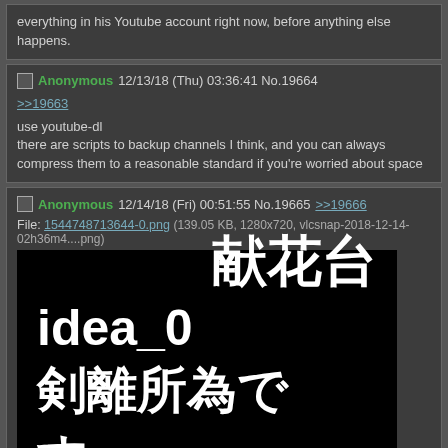everything in his Youtube account right now, before anything else happens.
Anonymous 12/13/18 (Thu) 03:36:41 No.19664
>>19663
use youtube-dl
there are scripts to backup channels I think, and you can always compress them to a reasonable standard if you're worried about space
Anonymous 12/14/18 (Fri) 00:51:55 No.19665 >>19666
File: 1544748713644-0.png (139.05 KB, 1280x720, vlcsnap-2018-12-14-02h36m4....png)
[Figure (screenshot): Black background image with large white Japanese/kanji text reading: 献花台 idea_0 剣離所為です。]
File: 1544748713644-1.jpeg (385.26 KB, 800x600, 6825a814eb9bc0610d4aba1a7....jpeg)
[Figure (photo): Partial view of a second image, dark greenish background, partially cut off at page bottom]